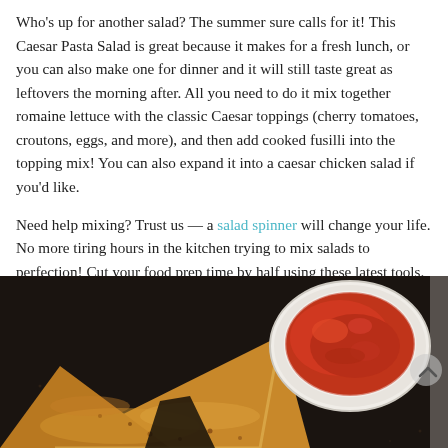Who's up for another salad? The summer sure calls for it! This Caesar Pasta Salad is great because it makes for a fresh lunch, or you can also make one for dinner and it will still taste great as leftovers the morning after. All you need to do it mix together romaine lettuce with the classic Caesar toppings (cherry tomatoes, croutons, eggs, and more), and then add cooked fusilli into the topping mix! You can also expand it into a caesar chicken salad if you'd like.
Need help mixing? Trust us — a salad spinner will change your life. No more tiring hours in the kitchen trying to mix salads to perfection! Cut your food prep time by half using these latest tools. Don't forget a good ol' Caesar dressing plus some optional cheese to top! More on the recipe here.
[Figure (photo): Close-up photo of golden-baked pastry triangles (hand pies or calzones) on a dark surface next to a white bowl filled with red marinara dipping sauce. A navigation arrow icon is visible on the right edge.]